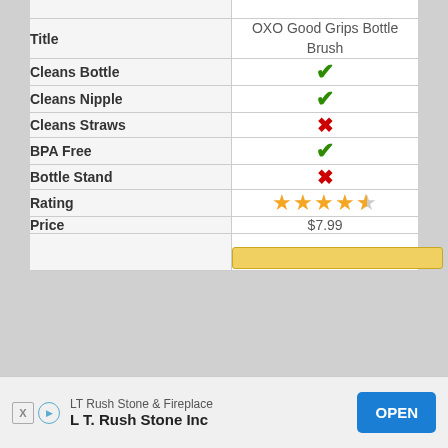|  | OXO Good Grips Bottle Brush |
| --- | --- |
| Title | OXO Good Grips Bottle Brush |
| Cleans Bottle | ✓ |
| Cleans Nipple | ✓ |
| Cleans Straws | ✗ |
| BPA Free | ✓ |
| Bottle Stand | ✗ |
| Rating | 4.5 stars |
| Price | $7.99 |
|  | (buy button) |
[Figure (other): Advertisement banner at bottom: LT Rush Stone & Fireplace / L T. Rush Stone Inc with OPEN button]